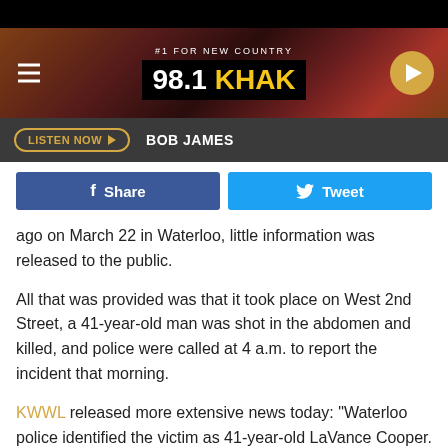[Figure (screenshot): 98.1 KHAK radio station website header banner with logo, tagline '#1 For New Country', hamburger menu, and play button]
LISTEN NOW  BOB JAMES
[Figure (infographic): Facebook Share button and Twitter Tweet button]
ago on March 22 in Waterloo, little information was released to the public.
All that was provided was that it took place on West 2nd Street, a 41-year-old man was shot in the abdomen and killed, and police were called at 4 a.m. to report the incident that morning.
KWWL released more extensive news today: "Waterloo police identified the victim as 41-year-old LaVance Cooper.